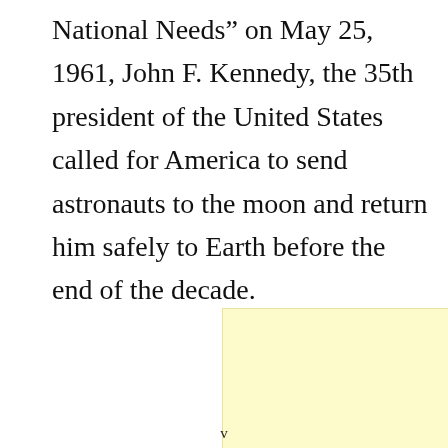National Needs” on May 25, 1961, John F. Kennedy, the 35th president of the United States called for America to send astronauts to the moon and return him safely to Earth before the end of the decade.
[Figure (other): A plain light yellow rectangle, likely a placeholder for an image or illustration.]
v